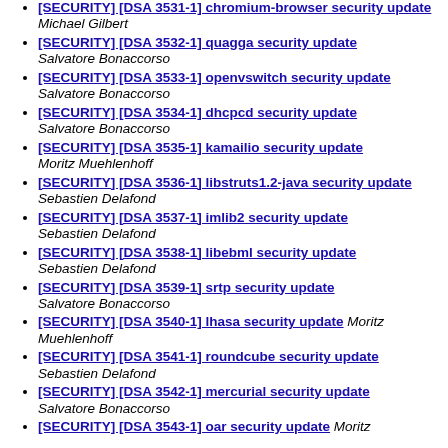[SECURITY] [DSA 3531-1] chromium-browser security update Michael Gilbert
[SECURITY] [DSA 3532-1] quagga security update Salvatore Bonaccorso
[SECURITY] [DSA 3533-1] openvswitch security update Salvatore Bonaccorso
[SECURITY] [DSA 3534-1] dhcpcd security update Salvatore Bonaccorso
[SECURITY] [DSA 3535-1] kamailio security update Moritz Muehlenhoff
[SECURITY] [DSA 3536-1] libstruts1.2-java security update Sebastien Delafond
[SECURITY] [DSA 3537-1] imlib2 security update Sebastien Delafond
[SECURITY] [DSA 3538-1] libebml security update Sebastien Delafond
[SECURITY] [DSA 3539-1] srtp security update Salvatore Bonaccorso
[SECURITY] [DSA 3540-1] lhasa security update Moritz Muehlenhoff
[SECURITY] [DSA 3541-1] roundcube security update Sebastien Delafond
[SECURITY] [DSA 3542-1] mercurial security update Salvatore Bonaccorso
[SECURITY] [DSA 3543-1] oar security update Moritz